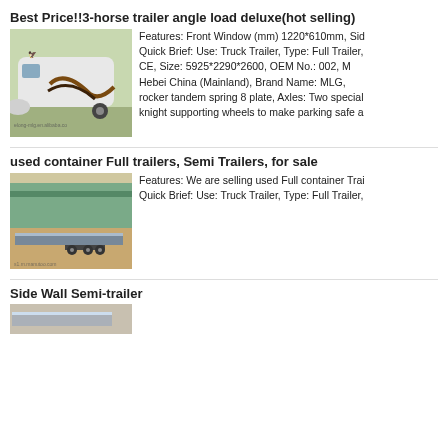Best Price!!3-horse trailer angle load deluxe(hot selling)
[Figure (photo): White horse trailer with decorative graphics on the side]
Features: Front Window (mm) 1220*610mm, Sid Quick Brief: Use: Truck Trailer, Type: Full Trailer, CE, Size: 5925*2290*2600, OEM No.: 002, M Hebei China (Mainland), Brand Name: MLG, rocker tandem spring 8 plate, Axles: Two special knight supporting wheels to make parking safe a
used container Full trailers, Semi Trailers, for sale
[Figure (photo): Flatbed semi-trailer parked near a green warehouse building]
Features: We are selling used Full container Trai Quick Brief: Use: Truck Trailer, Type: Full Trailer,
Side Wall Semi-trailer
[Figure (photo): Partial view of a semi-trailer image at bottom of page]